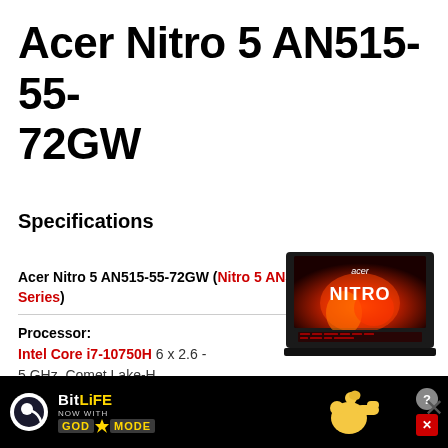Acer Nitro 5 AN515-55-72GW
Specifications
Acer Nitro 5 AN515-55-72GW (Nitro 5 AN515 Series)
[Figure (photo): Acer Nitro 5 laptop with red keyboard backlight and NITRO branding on screen, shown open at an angle]
Processor:
Intel Core i7-10750H 6 x 2.6 - 5 GHz, Comet Lake-H
Graphics adapter:
[Figure (other): BitLife advertisement banner with GOD MODE text, yellow lightning bolt, and pointing hand graphic]